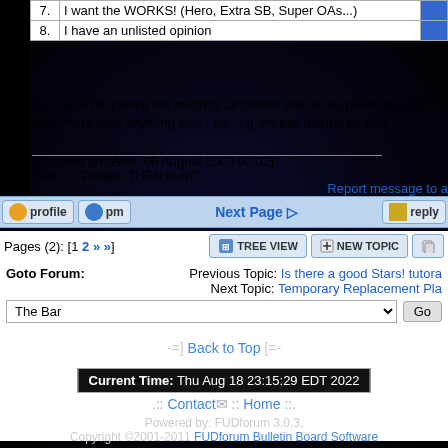| # | Option | Votes |
| --- | --- | --- |
| 7. | I want the WORKS! (Hero, Extra SB, Super OAs...) |  |
| 8. | I have an unlisted opinion |  |
Wonder if I'm polling too much?? Of course this IS mo public interest topic more than anything else.. So.. I g are just natural for that.
[Updated on: Wed, 06 August 2003 00:02]
Rule 1: "Pillage, THEN burn!"
Report message to a
Next Page
Pages (2): [1 2 » »]
TREE VIEW  NEW TOPIC
Goto Forum:
Previous Topic: Is there a good Stars! tutora
Next Topic: Temporary Replacement Pla
The Bar
-=] Back to Top [=-
Current Time: Thu Aug 18 23:15:29 EDT 2022
.:: Contact :: Home ::.
Powered by: FUDforum 3.0.3.
Copyright ©2001-2011 FUDforum Bulletin Board Software